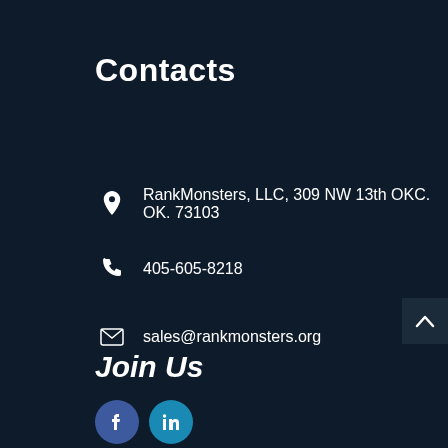Contacts
RankMonsters, LLC, 309 NW 13th OKC. OK. 73103
405-605-8218
sales@rankmonsters.org
Join Us
[Figure (logo): Facebook and LinkedIn social media icon circles]